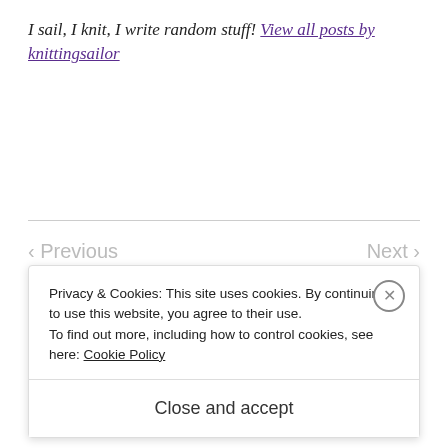I sail, I knit, I write random stuff! View all posts by knittingsailor
< Previous
This is a tourist information announcement for Yorkshire
Next >
The OOD
Privacy & Cookies: This site uses cookies. By continuing to use this website, you agree to their use.
To find out more, including how to control cookies, see here: Cookie Policy
Close and accept